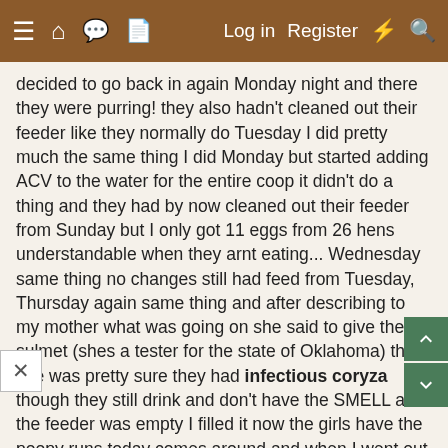☰ ⌂ 💬 📄   Log in   Register   ⚡ 🔍
decided to go back in again Monday night and there they were purring! they also hadn't cleaned out their feeder like they normally do Tuesday I did pretty much the same thing I did Monday but started adding ACV to the water for the entire coop it didn't do a thing and they had by now cleaned out their feeder from Sunday but I only got 11 eggs from 26 hens understandable when they arnt eating... Wednesday same thing no changes still had feed from Tuesday, Thursday again same thing and after describing to my mother what was going on she said to give them sulmet (shes a tester for the state of Oklahoma) that she was pretty sure they had infectious coryza though they still drink and don't have the SMELL and the feeder was empty I filled it now the girls have the poopy runs today comes around and when I went out to check them their feeder is empty like it was before all this started only got 7 eggs but they are still purring. I worm them regularly with
pumpkin seeds, someone suggested gapeworms I checked for that and got nothing but found out several of my hens weigh next to nothing!